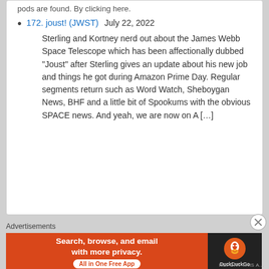pods are found. By clicking here.
172. joust! (JWST)    July 22, 2022

Sterling and Kortney nerd out about the James Webb Space Telescope which has been affectionally dubbed "Joust" after Sterling gives an update about his new job and things he got during Amazon Prime Day. Regular segments return such as Word Watch, Sheboygan News, BHF and a little bit of Spookums with the obvious SPACE news. And yeah, we are now on A […]
Advertisements
[Figure (infographic): DuckDuckGo advertisement banner: orange left panel reading 'Search, browse, and email with more privacy. All in One Free App' with a white pill button, and dark right panel with DuckDuckGo duck logo and 'DuckDuckGo' text.]